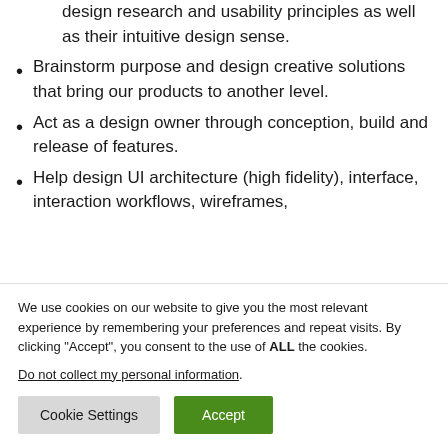design research and usability principles as well as their intuitive design sense.
Brainstorm purpose and design creative solutions that bring our products to another level.
Act as a design owner through conception, build and release of features.
Help design UI architecture (high fidelity), interface, interaction workflows, wireframes,
We use cookies on our website to give you the most relevant experience by remembering your preferences and repeat visits. By clicking “Accept”, you consent to the use of ALL the cookies.
Do not collect my personal information.